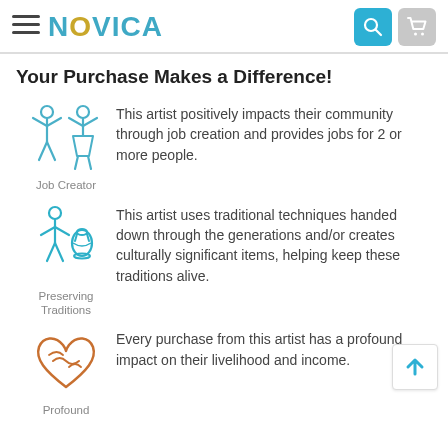NOVICA
Your Purchase Makes a Difference!
[Figure (illustration): Job Creator icon: two stylized figures with arms raised, outline style in blue]
This artist positively impacts their community through job creation and provides jobs for 2 or more people.
Job Creator
[Figure (illustration): Preserving Traditions icon: figure with a pottery vase, outline style in teal/blue]
This artist uses traditional techniques handed down through the generations and/or creates culturally significant items, helping keep these traditions alive.
Preserving Traditions
[Figure (illustration): Profound impact icon: handshake forming a heart shape, outline style in orange/brown]
Every purchase from this artist has a profound impact on their livelihood and income.
Profound